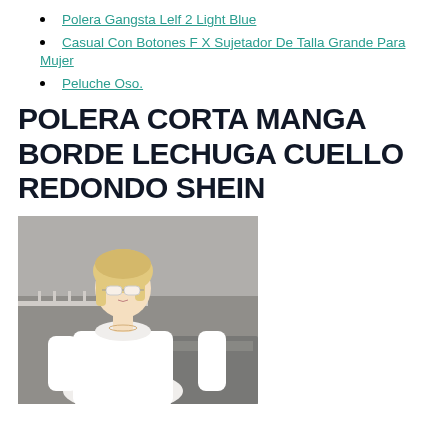Polera Gangsta Lelf 2 Light Blue
Casual Con Botones F X Sujetador De Talla Grande Para Mujer
Peluche Oso.
POLERA CORTA MANGA BORDE LECHUGA CUELLO REDONDO SHEIN
[Figure (photo): Blonde woman wearing white long-sleeve round-neck fitted top, sunglasses, standing outdoors near a car]